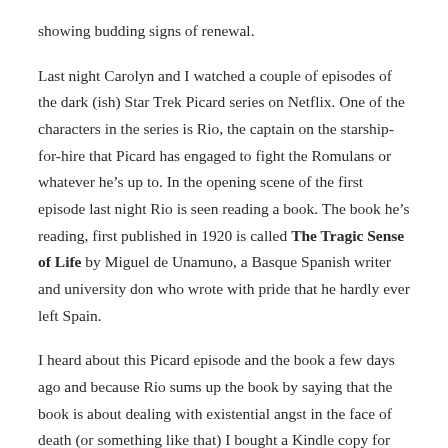showing budding signs of renewal.
Last night Carolyn and I watched a couple of episodes of the dark (ish) Star Trek Picard series on Netflix. One of the characters in the series is Rio, the captain on the starship-for-hire that Picard has engaged to fight the Romulans or whatever he’s up to. In the opening scene of the first episode last night Rio is seen reading a book. The book he’s reading, first published in 1920 is called The Tragic Sense of Life by Miguel de Unamuno, a Basque Spanish writer and university don who wrote with pride that he hardly ever left Spain.
I heard about this Picard episode and the book a few days ago and because Rio sums up the book by saying that the book is about dealing with existential angst in the face of death (or something like that) I bought a Kindle copy for less than two bucks but I could have read it for free on the internet and it’s (allegedly) for I’d...